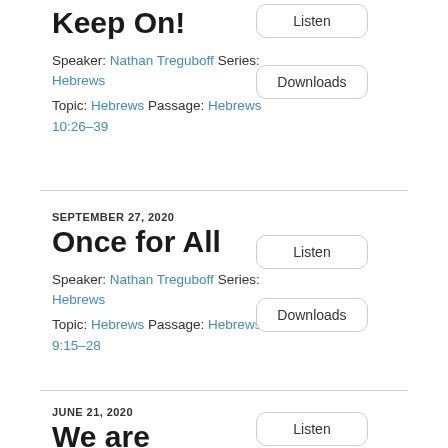Keep On!
Speaker: Nathan Treguboff Series: Hebrews
Topic: Hebrews Passage: Hebrews 10:26–39
SEPTEMBER 27, 2020
Once for All
Speaker: Nathan Treguboff Series: Hebrews
Topic: Hebrews Passage: Hebrews 9:15–28
JUNE 21, 2020
We are Continuationist